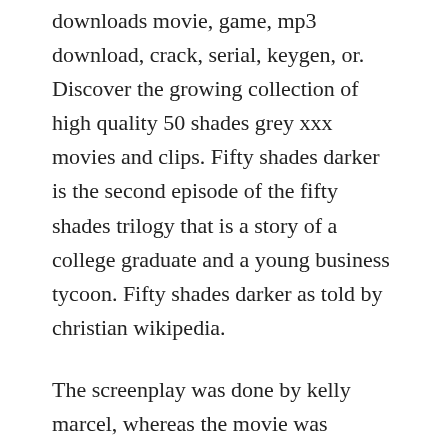downloads movie, game, mp3 download, crack, serial, keygen, or. Discover the growing collection of high quality 50 shades grey xxx movies and clips. Fifty shades darker is the second episode of the fifty shades trilogy that is a story of a college graduate and a young business tycoon. Fifty shades darker as told by christian wikipedia.
The screenplay was done by kelly marcel, whereas the movie was released on february 9, 2015. Discover the growing collection of high quality most relevant xxx movies and clips. Where can i see 50 shades of grey for